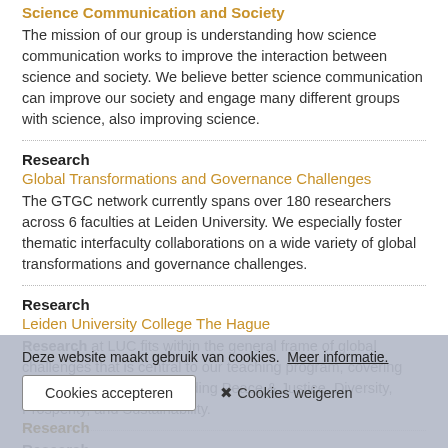Science Communication and Society
The mission of our group is understanding how science communication works to improve the interaction between science and society. We believe better science communication can improve our society and engage many different groups with science, also improving science.
Research
Global Transformations and Governance Challenges
The GTGC network currently spans over 180 researchers across 6 faculties at Leiden University. We especially foster thematic interfaculty collaborations on a wide variety of global transformations and governance challenges.
Research
Leiden University College The Hague
Research at LUC fits within the general frame of global challenges that is central to our teaching program, covering major societal issues including Peace & Justice, Diversity, Prosperity, and Sustainability.
Research
Supramolecular & Biomaterials Chemistry
Research at the SBC group is comprised of the following research
Deze website maakt gebruik van cookies. Meer informatie.
Cookies accepteren   ✖ Cookies weigeren
Research